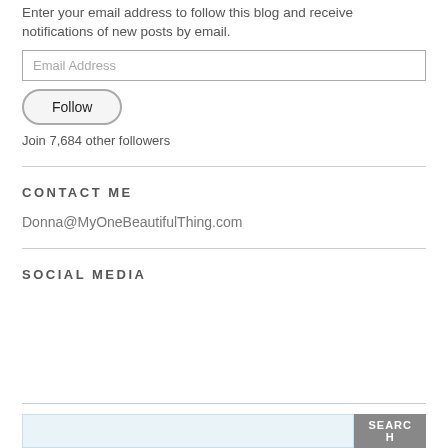Enter your email address to follow this blog and receive notifications of new posts by email.
Email Address
Follow
Join 7,684 other followers
CONTACT ME
Donna@MyOneBeautifulThing.com
SOCIAL MEDIA
SEARCH